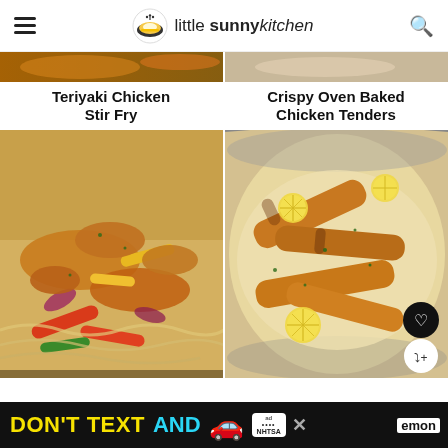little sunny kitchen
[Figure (photo): Teriyaki Chicken Stir Fry food photo top strip]
[Figure (photo): Crispy Oven Baked Chicken Tenders food photo top strip]
Teriyaki Chicken Stir Fry
Crispy Oven Baked Chicken Tenders
[Figure (photo): Chicken and colorful bell peppers with red onion over noodles]
[Figure (photo): Chicken tenders in creamy lemon sauce with lemon slices in a pan]
[Figure (other): DON'T TEXT AND [car emoji] advertisement banner with NHTSA logo]